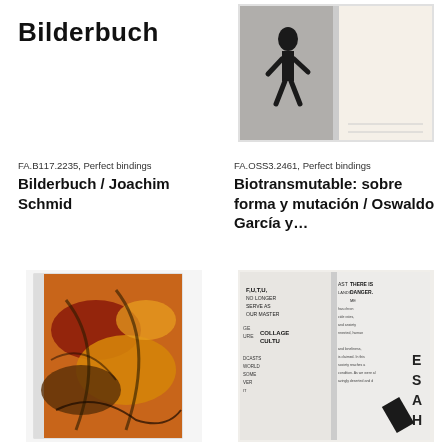Bilderbuch
[Figure (photo): Open book spread showing a dark silhouette figure on left page and blank/light right page]
FA.B117.2235, Perfect bindings
Bilderbuch / Joachim Schmid
FA.OSS3.2461, Perfect bindings
Biotransmutable: sobre forma y mutación / Oswaldo García y…
[Figure (photo): Book with colorful orange, red, and brown feather or textured cover art]
[Figure (photo): Open book spread with dense collage-style typographic layout with various overlapping text blocks]